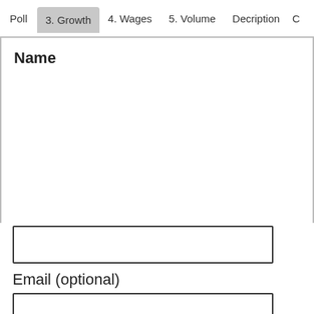Poll  3. Growth  4. Wages  5. Volume  Decription  C
Name
Email (optional)